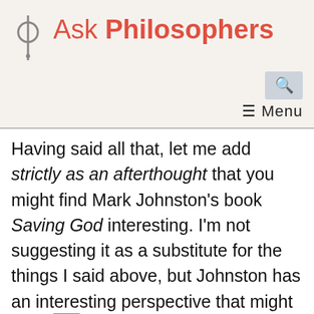Ask Philosophers
Having said all that, let me add strictly as an afterthought that you might find Mark Johnston's book Saving God interesting. I'm not suggesting it as a substitute for the things I said above, but Johnston has an interesting perspective that might appeal to you. He's a thoroughgoing naturalist: no hint